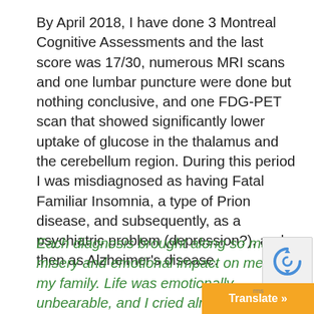By April 2018, I have done 3 Montreal Cognitive Assessments and the last score was 17/30, numerous MRI scans and one lumbar puncture were done but nothing conclusive, and one FDG-PET scan that showed significantly lower uptake of glucose in the thalamus and the cerebellum region. During this period I was misdiagnosed as having Fatal Familiar Insomnia, a type of Prion disease, and subsequently, as a psychiatric problem (depression?), and then as Alzheimer's disease.
Each diagnosis brought along so much misery and emotional impact on me and my family. Life was emotionally unbearable, and I cried almost every other day!